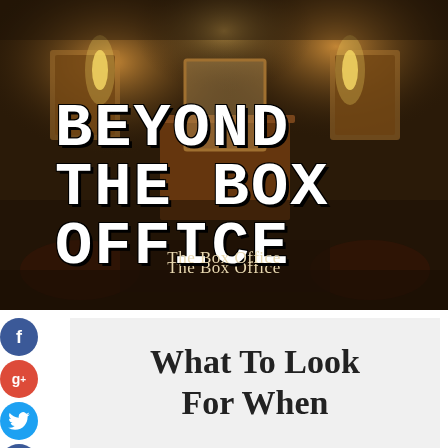[Figure (photo): Theater or hotel box office lobby interior with warm amber lighting, wooden paneling, mirrors, and framed pictures on walls]
BEYOND THE BOX OFFICE
The Box Office
[Figure (infographic): Social media share buttons: Facebook (blue), Google+ (red), Twitter (blue), Pinterest/Plus (blue)]
What To Look For When